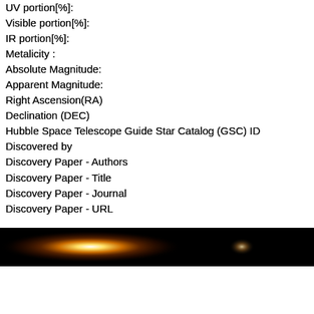UV portion[%]:
Visible portion[%]:
IR portion[%]:
Metalicity :
Absolute Magnitude:
Apparent Magnitude:
Right Ascension(RA)
Declination (DEC)
Hubble Space Telescope Guide Star Catalog (GSC) ID
Discovered by
Discovery Paper - Authors
Discovery Paper - Title
Discovery Paper - Journal
Discovery Paper - URL
SIMBAD LINK
Open Exoplanet Database Link
[Figure (photo): Astronomical image strip showing a glowing orange/golden nebula or star on the left side and a fainter celestial object on the right, against a black space background.]